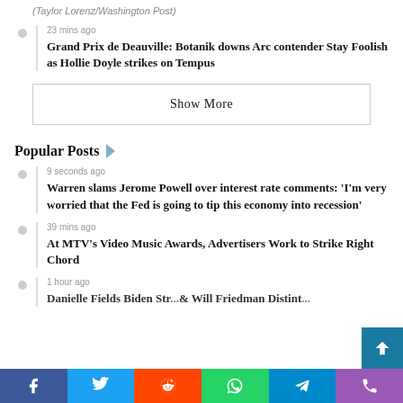(Taylor Lorenz/Washington Post)
23 mins ago
Grand Prix de Deauville: Botanik downs Arc contender Stay Foolish as Hollie Doyle strikes on Tempus
Show More
Popular Posts
9 seconds ago
Warren slams Jerome Powell over interest rate comments: 'I'm very worried that the Fed is going to tip this economy into recession'
39 mins ago
At MTV's Video Music Awards, Advertisers Work to Strike Right Chord
1 hour ago
Danielle Fields Biden Str...& Will Friedman Distint...